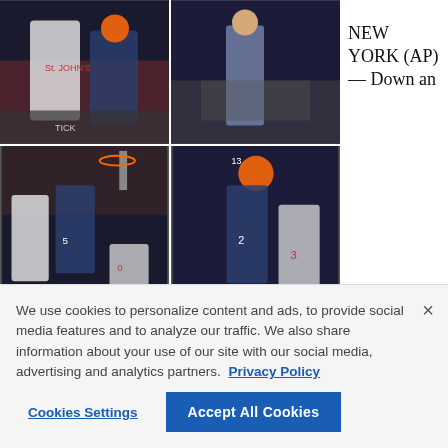[Figure (photo): Four basketball game photos arranged in a 2x2 grid showing Villanova vs St. John's players in action and a coach on the sideline]
NEW YORK (AP) — Down an
We use cookies to personalize content and ads, to provide social media features and to analyze our traffic. We also share information about your use of our site with our social media, advertising and analytics partners.  Privacy Policy
Cookies Settings
Accept All Cookies